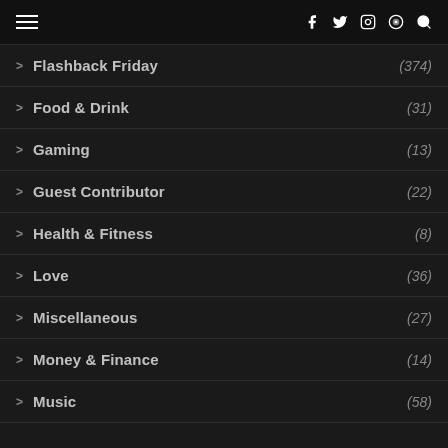☰ | f t ⊙ ● 🔍
> Flashback Friday (374)
> Food & Drink (31)
> Gaming (13)
> Guest Contributor (22)
> Health & Fitness (8)
> Love (36)
> Miscellaneous (27)
> Money & Finance (14)
> Music (58)